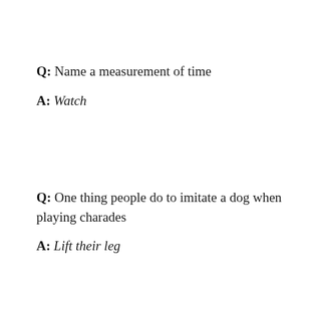Q: Name a measurement of time
A: Watch
Q: One thing people do to imitate a dog when playing charades
A: Lift their leg